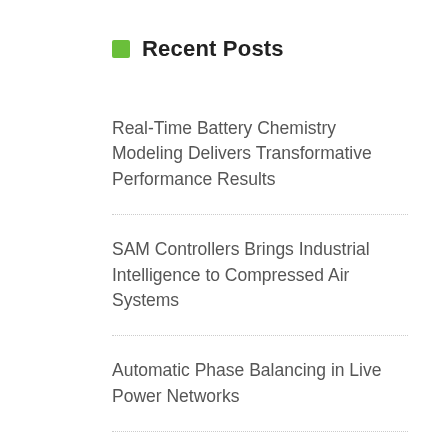Recent Posts
Real-Time Battery Chemistry Modeling Delivers Transformative Performance Results
SAM Controllers Brings Industrial Intelligence to Compressed Air Systems
Automatic Phase Balancing in Live Power Networks